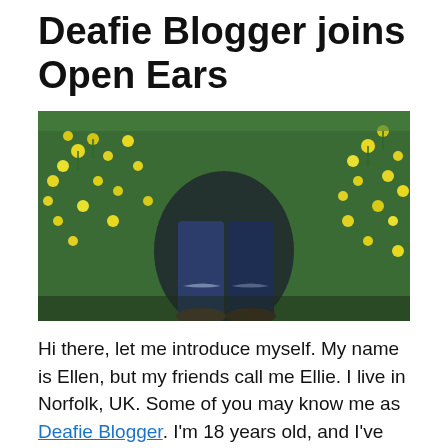Deafie Blogger joins Open Ears
[Figure (photo): A first-person perspective photo looking down at someone's feet wearing shoes, standing among bright yellow wildflowers with green foliage, wearing ripped/distressed dark blue jeans.]
Hi there, let me introduce myself. My name is Ellen, but my friends call me Ellie. I live in Norfolk, UK. Some of you may know me as Deafie Blogger. I'm 18 years old, and I've been profoundly deaf since birth. I wear two digital